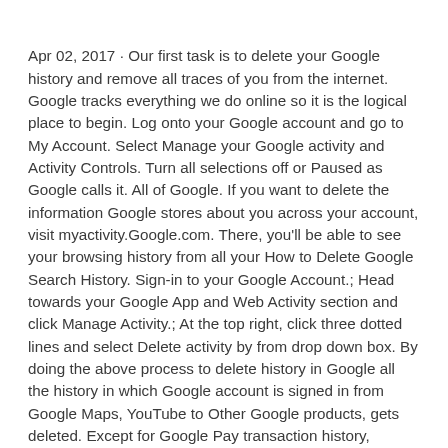Apr 02, 2017 · Our first task is to delete your Google history and remove all traces of you from the internet. Google tracks everything we do online so it is the logical place to begin. Log onto your Google account and go to My Account. Select Manage your Google activity and Activity Controls. Turn all selections off or Paused as Google calls it. All of Google. If you want to delete the information Google stores about you across your account, visit myactivity.Google.com. There, you'll be able to see your browsing history from all your How to Delete Google Search History. Sign-in to your Google Account.; Head towards your Google App and Web Activity section and click Manage Activity.; At the top right, click three dotted lines and select Delete activity by from drop down box. By doing the above process to delete history in Google all the history in which Google account is signed in from Google Maps, YouTube to Other Google products, gets deleted. Except for Google Pay transaction history, because is the sensitive information about